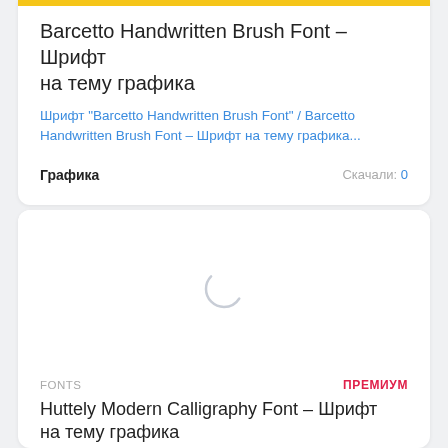Barcetto Handwritten Brush Font – Шрифт на тему графика
Шрифт "Barcetto Handwritten Brush Font" / Barcetto Handwritten Brush Font – Шрифт на тему графика...
Графика
Скачали: 0
[Figure (other): Loading spinner / circular progress indicator on white background]
FONTS
ПРЕМИУМ
Huttely Modern Calligraphy Font – Шрифт на тему графика